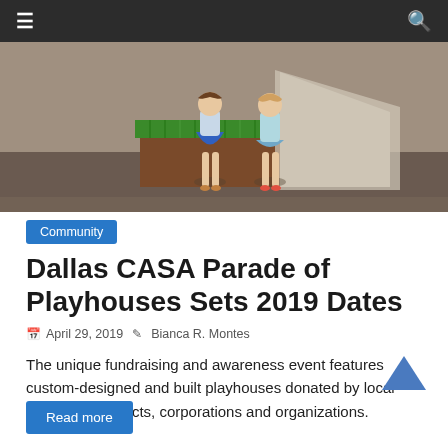≡  🔍
[Figure (photo): Two children standing in front of a display structure with artificial grass on top, indoors on a reflective floor.]
Community
Dallas CASA Parade of Playhouses Sets 2019 Dates
April 29, 2019   Bianca R. Montes
The unique fundraising and awareness event features custom-designed and built playhouses donated by local builders, architects, corporations and organizations.
Read more